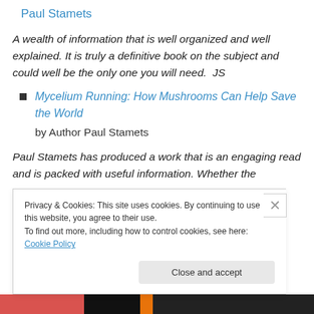Paul Stamets
A wealth of information that is well organized and well explained. It is truly a definitive book on the subject and could well be the only one you will need.  JS
Mycelium Running: How Mushrooms Can Help Save the World
by Author Paul Stamets
Paul Stamets has produced a work that is an engaging read and is packed with useful information. Whether the
Privacy & Cookies: This site uses cookies. By continuing to use this website, you agree to their use.
To find out more, including how to control cookies, see here: Cookie Policy
Close and accept